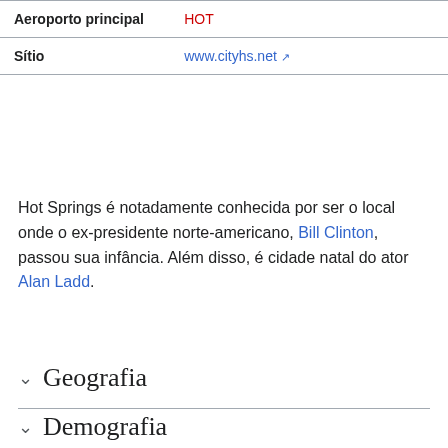| Field | Value |
| --- | --- |
| Aeroporto principal | HOT |
| Sítio | www.cityhs.net ↗ |
Hot Springs é notadamente conhecida por ser o local onde o ex-presidente norte-americano, Bill Clinton, passou sua infância. Além disso, é cidade natal do ator Alan Ladd.
Geografia
Demografia
Educação